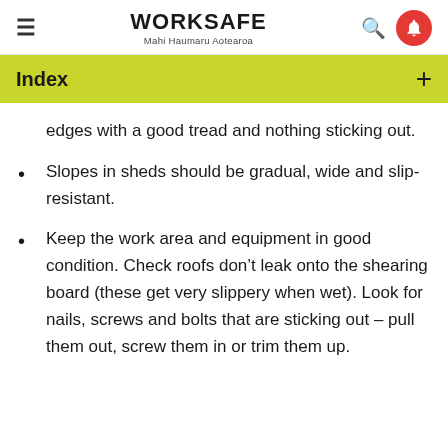WORKSAFE Mahi Haumaru Aotearoa
Index
edges with a good tread and nothing sticking out.
Slopes in sheds should be gradual, wide and slip-resistant.
Keep the work area and equipment in good condition. Check roofs don't leak onto the shearing board (these get very slippery when wet). Look for nails, screws and bolts that are sticking out – pull them out, screw them in or trim them up.